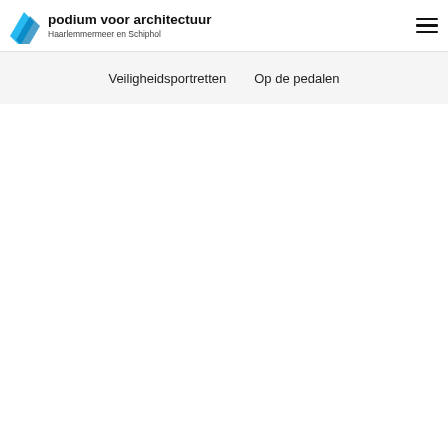podium voor architectuur Haarlemmermeer en Schiphol
Veiligheidsportretten   Op de pedalen